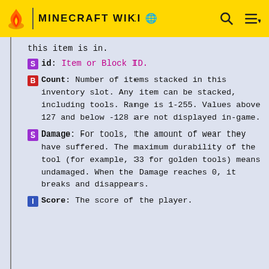MINECRAFT WIKI
this item is in.
S id: Item or Block ID.
B Count: Number of items stacked in this inventory slot. Any item can be stacked, including tools. Range is 1-255. Values above 127 and below -128 are not displayed in-game.
S Damage: For tools, the amount of wear they have suffered. The maximum durability of the tool (for example, 33 for golden tools) means undamaged. When the Damage reaches 0, it breaks and disappears.
I Score: The score of the player.